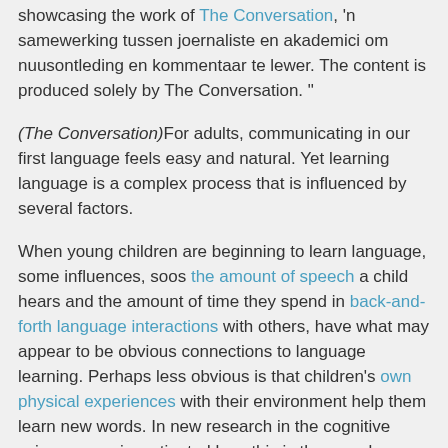showcasing the work of The Conversation, 'n samewerking tussen joernaliste en akademici om nuusontleding en kommentaar te lewer. The content is produced solely by The Conversation. "
(The Conversation)For adults, communicating in our first language feels easy and natural. Yet learning language is a complex process that is influenced by several factors.
When young children are beginning to learn language, some influences, soos the amount of speech a child hears and the amount of time they spend in back-and-forth language interactions with others, have what may appear to be obvious connections to language learning. Perhaps less obvious is that children's own physical experiences with their environment help them learn new words. In new research in the cognitive sciences, we investigated how this is the case by considering how children learn words that refer to something